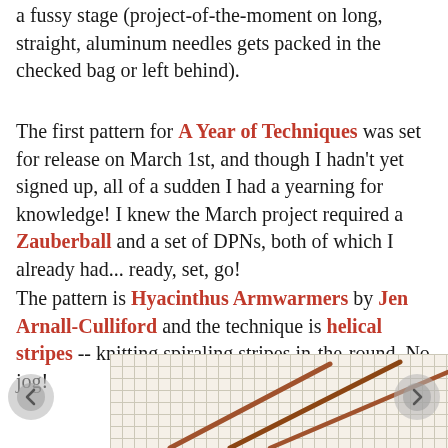a fussy stage (project-of-the-moment on long, straight, aluminum needles gets packed in the checked bag or left behind).
The first pattern for A Year of Techniques was set for release on March 1st, and though I hadn't yet signed up, all of a sudden I had a yearning for knowledge! I knew the March project required a Zauberball and a set of DPNs, both of which I already had... ready, set, go!
The pattern is Hyacinthus Armwarmers by Jen Arnall-Culliford and the technique is helical stripes -- knitting spiraling stripes in-the-round. No jog!
[Figure (photo): Bottom portion of photo showing knitting needles (wooden/bamboo DPNs) on a grid/graph paper background, with navigation arrows on left and right.]